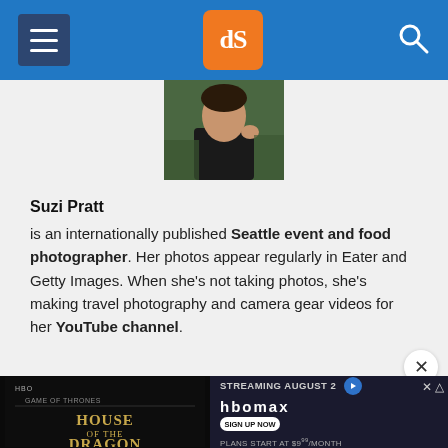dPS navigation header
[Figure (photo): Profile photo of Suzi Pratt, a woman in a dark jacket outdoors with green foliage background]
Suzi Pratt
is an internationally published Seattle event and food photographer. Her photos appear regularly in Eater and Getty Images. When she’s not taking photos, she’s making travel photography and camera gear videos for her YouTube channel.
[Figure (photo): Advertisement banner for House of the Dragon on HBO Max, streaming August. Plans start at $9.99/month.]